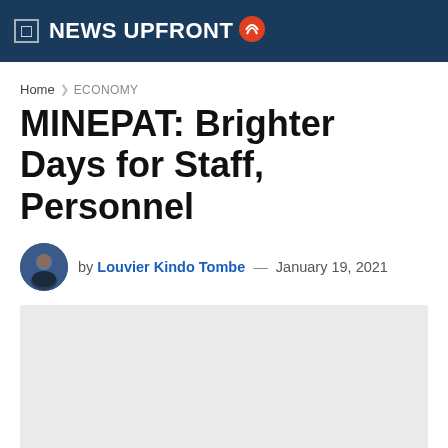NEWS UPFRONT
Home / ECONOMY
MINEPAT: Brighter Days for Staff, Personnel
by Louvier Kindo Tombe — January 19, 2021
[Figure (photo): Article featured image placeholder, light gray background]